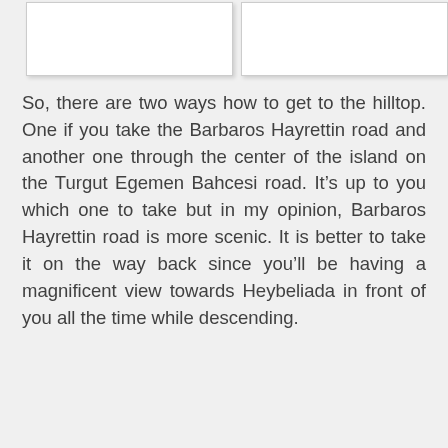[Figure (photo): Two white rectangular image placeholders side by side at the top of the page]
So, there are two ways how to get to the hilltop. One if you take the Barbaros Hayrettin road and another one through the center of the island on the Turgut Egemen Bahcesi road. It’s up to you which one to take but in my opinion, Barbaros Hayrettin road is more scenic. It is better to take it on the way back since you’ll be having a magnificent view towards Heybeliada in front of you all the time while descending.